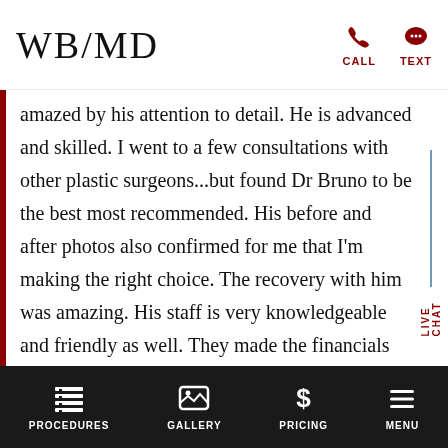[Figure (logo): WB/MD logo in serif font, top left]
CALL
TEXT
amazed by his attention to detail. He is advanced and skilled. I went to a few consultations with other plastic surgeons...but found Dr Bruno to be the best most recommended. His before and after photos also confirmed for me that I'm making the right choice. The recovery with him was amazing. His staff is very knowledgeable and friendly as well. They made the financials straight through and we're not pushy or aggressive. I highly recommend him!"
LIVE CHAT
PROCEDURES
GALLERY
PRICING
MENU